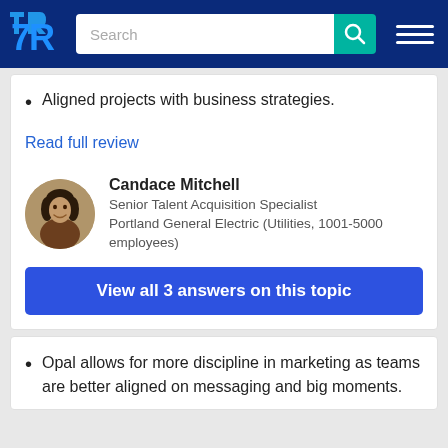TrustRadius — Search
Aligned projects with business strategies.
Read full review
[Figure (photo): Circular profile photo of Candace Mitchell]
Candace Mitchell
Senior Talent Acquisition Specialist
Portland General Electric (Utilities, 1001-5000 employees)
View all 3 answers on this topic
Opal allows for more discipline in marketing as teams are better aligned on messaging and big moments.